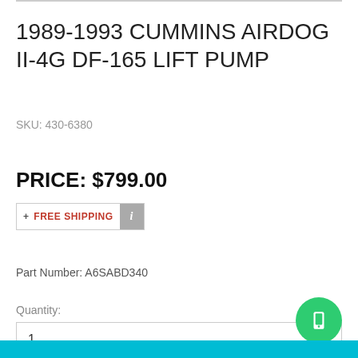1989-1993 CUMMINS AIRDOG II-4G DF-165 LIFT PUMP
SKU: 430-6380
PRICE: $799.00
+ FREE SHIPPING
Part Number: A6SABD340
Quantity:
1